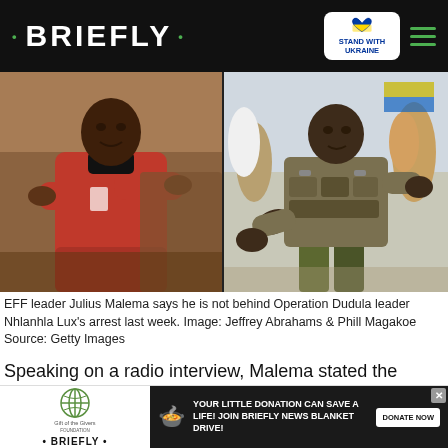• BRIEFLY •
[Figure (photo): Two-panel photo: left shows EFF leader Julius Malema in a red jumpsuit with arms crossed; right shows Operation Dudula leader Nhlanhla Lux in military-style camouflage tactical vest at a public event.]
EFF leader Julius Malema says he is not behind Operation Dudula leader Nhlanhla Lux's arrest last week. Image: Jeffrey Abrahams & Phill Magakoe Source: Getty Images
Speaking on a radio interview, Malema stated the charges against Dlamini were not laid by the EFF, however, the political organisation merely accompanied Ramerafe to the Dobsonville Police Station to lay charges, reports